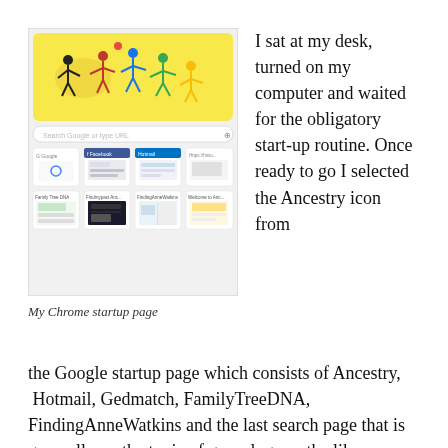[Figure (screenshot): Screenshot of Google Chrome startup page showing a sports illustration doodle at top (yellow background with cricket/baseball players), a search bar, and a grid of website thumbnail shortcuts including Ancestry, Facebook, Hotmail, FamilyTreeDNA, and other sites.]
My Chrome startup page
I sat at my desk, turned on my computer and waited for the obligatory start-up routine. Once ready to go I selected the Ancestry icon from the Google startup page which consists of Ancestry, Hotmail, Gedmatch, FamilyTreeDNA, FindingAnneWatkins and the last search page that is generally on the topic of genealogy or the likes.